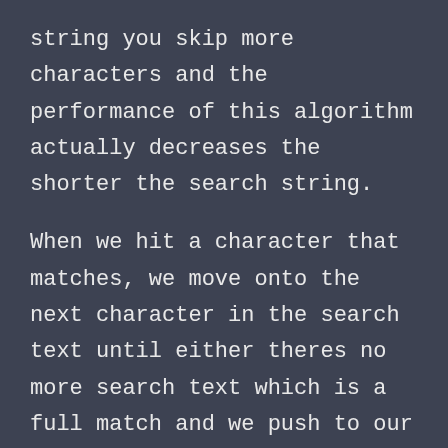string you skip more characters and the performance of this algorithm actually decreases the shorter the search string.
When we hit a character that matches, we move onto the next character in the search text until either theres no more search text which is a full match and we push to our results array or we skip the number of characters specified by